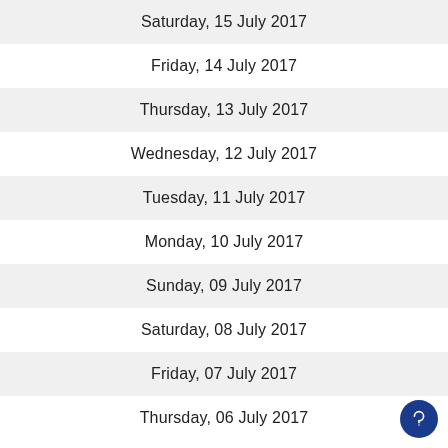Saturday, 15 July 2017
Friday, 14 July 2017
Thursday, 13 July 2017
Wednesday, 12 July 2017
Tuesday, 11 July 2017
Monday, 10 July 2017
Sunday, 09 July 2017
Saturday, 08 July 2017
Friday, 07 July 2017
Thursday, 06 July 2017